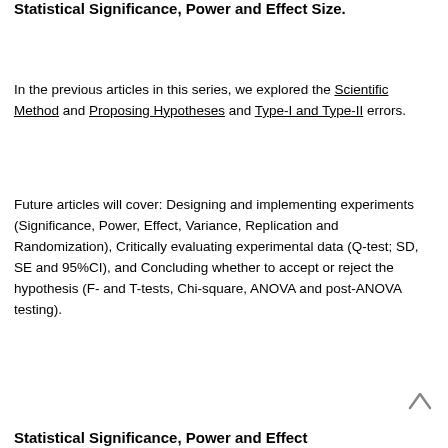Statistical Significance, Power and Effect Size.
In the previous articles in this series, we explored the Scientific Method and Proposing Hypotheses and Type-I and Type-II errors.
Future articles will cover: Designing and implementing experiments (Significance, Power, Effect, Variance, Replication and Randomization), Critically evaluating experimental data (Q-test; SD, SE and 95%CI), and Concluding whether to accept or reject the hypothesis (F- and T-tests, Chi-square, ANOVA and post-ANOVA testing).
[Figure (other): An upward-pointing chevron/arrow navigation icon]
Statistical Significance, Power and Effect